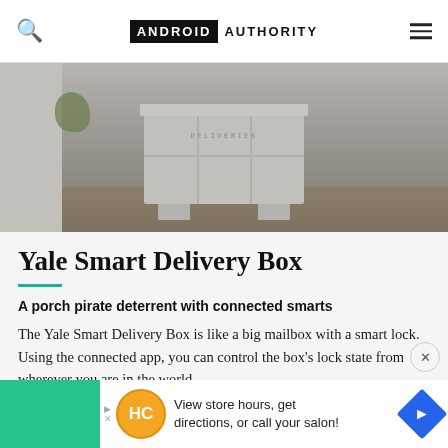ANDROID AUTHORITY
[Figure (photo): A gray plastic outdoor delivery box with 'DELIVERIES' embossed on the front, sitting on a driveway/patio surface next to a wall with plants]
Yale Smart Delivery Box
A porch pirate deterrent with connected smarts
The Yale Smart Delivery Box is like a big mailbox with a smart lock. Using the connected app, you can control the box's lock state from wherever you are in the world.
[Figure (other): Advertisement banner: green background on left, HC logo circle, text 'View store hours, get directions, or call your salon!', blue diamond navigation icon]